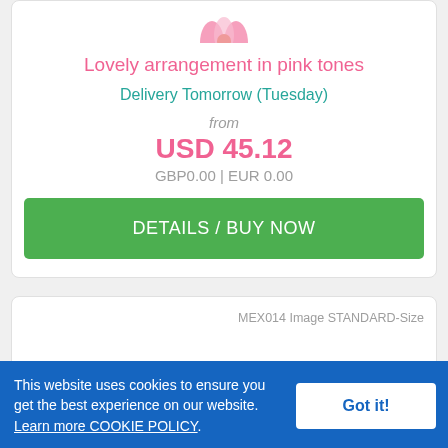[Figure (photo): Partial pink floral arrangement image at top of card]
Lovely arrangement in pink tones
Delivery Tomorrow (Tuesday)
from
USD 45.12
GBP0.00 | EUR 0.00
DETAILS / BUY NOW
MEX014 Image STANDARD-Size
[Figure (photo): Partial floral image at bottom of second card]
This website uses cookies to ensure you get the best experience on our website. Learn more COOKIE POLICY.
Got it!